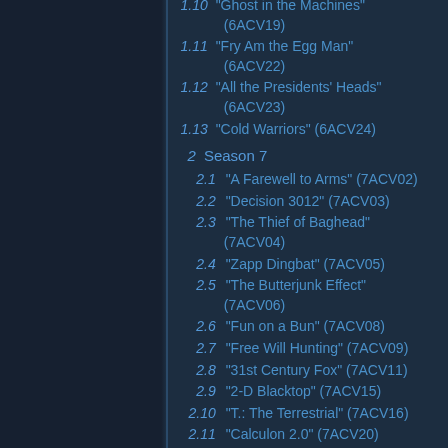1.10 "Ghost in the Machines" (6ACV19)
1.11 "Fry Am the Egg Man" (6ACV22)
1.12 "All the Presidents' Heads" (6ACV23)
1.13 "Cold Warriors" (6ACV24)
2 Season 7
2.1 "A Farewell to Arms" (7ACV02)
2.2 "Decision 3012" (7ACV03)
2.3 "The Thief of Baghead" (7ACV04)
2.4 "Zapp Dingbat" (7ACV05)
2.5 "The Butterjunk Effect" (7ACV06)
2.6 "Fun on a Bun" (7ACV08)
2.7 "Free Will Hunting" (7ACV09)
2.8 "31st Century Fox" (7ACV11)
2.9 "2-D Blacktop" (7ACV15)
2.10 "T.: The Terrestrial" (7ACV16)
2.11 "Calculon 2.0" (7ACV20)